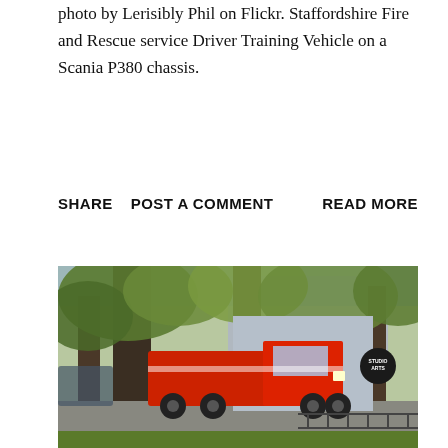photo by Lerisibly Phil on Flickr. Staffordshire Fire and Rescue service Driver Training Vehicle on a Scania P380 chassis.
SHARE   POST A COMMENT   READ MORE
[Figure (photo): A red fire truck visible through trees, parked on a street in front of a building with a round sign reading 'Studio Arts'.]